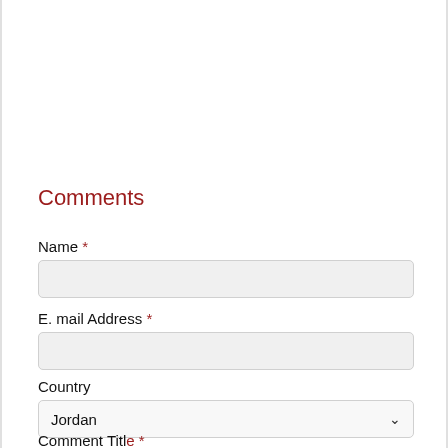Comments
Name *
E. mail Address *
Country
Comment Title *